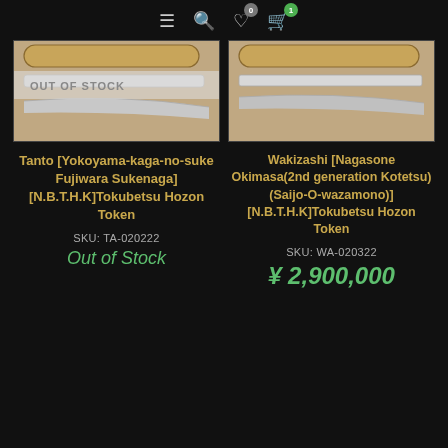≡ 🔍 ♡(0) 🛒(1)
[Figure (photo): Japanese tanto sword shown from above with wood handle and blade, overlaid with OUT OF STOCK badge]
Tanto [Yokoyama-kaga-no-suke Fujiwara Sukenaga] [N.B.T.H.K]Tokubetsu Hozon Token
SKU: TA-020222
Out of Stock
[Figure (photo): Japanese wakizashi sword shown from above with wood handle and blade]
Wakizashi [Nagasone Okimasa(2nd generation Kotetsu)(Saijo-O-wazamono)] [N.B.T.H.K]Tokubetsu Hozon Token
SKU: WA-020322
¥ 2,900,000